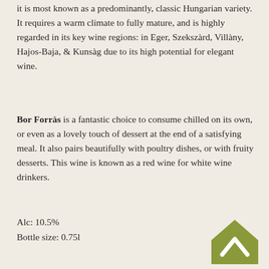it is most known as a predominantly, classic Hungarian variety. It requires a warm climate to fully mature, and is highly regarded in its key wine regions: in Eger, Szekszàrd, Villàny, Hajos-Baja, & Kunsàg due to its high potential for elegant wine.
Bor Forràs is a fantastic choice to consume chilled on its own, or even as a lovely touch of dessert at the end of a satisfying meal. It also pairs beautifully with poultry dishes, or with fruity desserts. This wine is known as a red wine for white wine drinkers.
Alc: 10.5%
Bottle size: 0.75l
[Figure (logo): Green house/chevron shaped logo with white upward arrow inside]